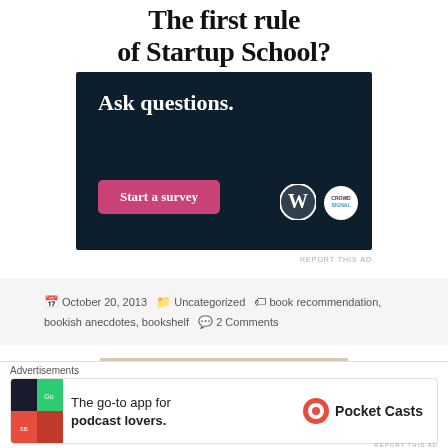The first rule of Startup School?
[Figure (infographic): Dark navy advertisement banner reading 'Ask questions.' with a pink 'Start a survey' button and WordPress and CrowdSignal logos]
REPORT THIS AD
October 20, 2013   Uncategorized   book recommendation, bookish anecdotes, bookshelf   2 Comments
[Figure (photo): Photo of a bookshelf filled with colorful books]
[Figure (infographic): Pocket Casts advertisement: 'The go-to app for podcast lovers.' with Pocket Casts logo]
REPORT THIS AD